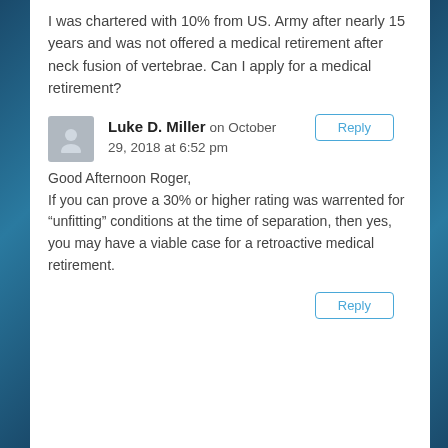I was chartered with 10% from US. Army after nearly 15 years and was not offered a medical retirement after neck fusion of vertebrae. Can I apply for a medical retirement?
Reply
Luke D. Miller on October 29, 2018 at 6:52 pm
Good Afternoon Roger,
If you can prove a 30% or higher rating was warrented for “unfitting” conditions at the time of separation, then yes, you may have a viable case for a retroactive medical retirement.
Reply